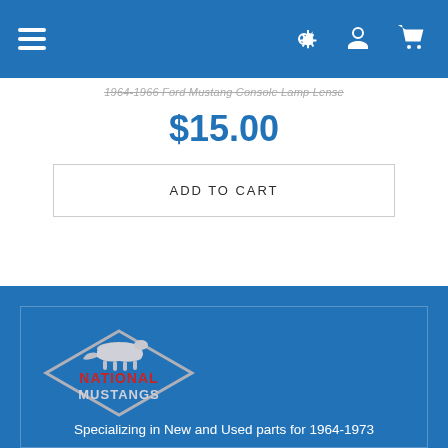Navigation bar with hamburger menu, settings, user, and cart icons
1964-1966 Ford Mustang Console Lamp Lense
$15.00
ADD TO CART
[Figure (logo): National Mustangs logo — diamond shape with running mustang horse silhouette; 'NATIONAL' in red text and 'MUSTANGS' in silver/white text]
Specializing in New and Used parts for 1964-1973